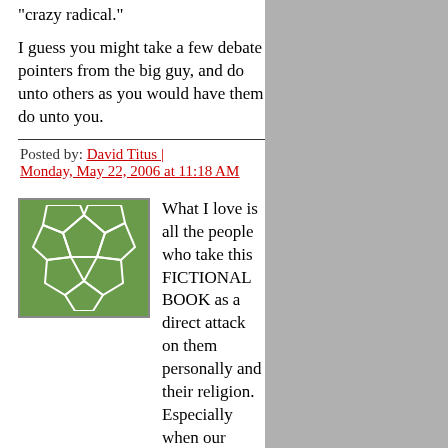"crazy radical."
I guess you might take a few debate pointers from the big guy, and do unto others as you would have them do unto you.
Posted by: David Titus | Monday, May 22, 2006 at 11:18 AM
[Figure (illustration): Green avatar icon with white geometric/mosaic pattern resembling a soccer ball or leaf structure]
What I love is all the people who take this FICTIONAL BOOK as a direct attack on them personally and their religion. Especially when our OWN PRESIDENT is attacking other countries for their beliefs. I'm not saying I agree with other countries, but think about it. (Please. Some thought would be nice.) Every religion comes